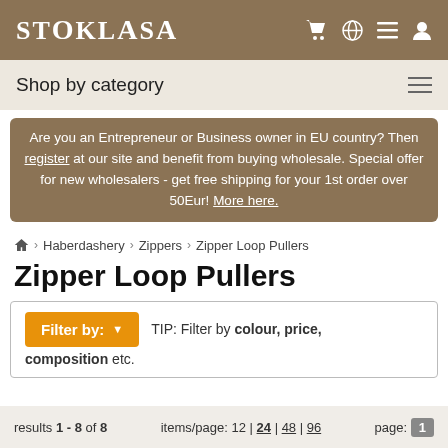STOKLASA
Shop by category
Are you an Entrepreneur or Business owner in EU country? Then register at our site and benefit from buying wholesale. Special offer for new wholesalers - get free shipping for your 1st order over 50Eur! More here.
Home > Haberdashery > Zippers > Zipper Loop Pullers
Zipper Loop Pullers
Filter by:  TIP: Filter by colour, price, composition etc.
results 1 - 8 of 8   items/page: 12 | 24 | 48 | 96   page: 1